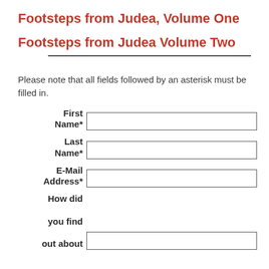Footsteps from Judea, Volume One
Footsteps from Judea Volume Two
Please note that all fields followed by an asterisk must be filled in.
| First Name* |  |
| Last Name* |  |
| E-Mail Address* |  |
| How did you find out about |  |